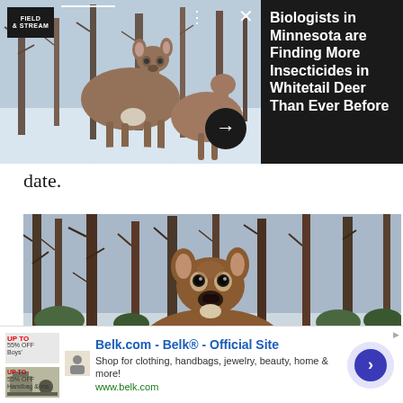[Figure (screenshot): Article card with photo of a whitetail deer in snow-covered forest. Dark overlay on right with article title. Field & Stream logo top-left. Arrow circle button.]
Biologists in Minnesota are Finding More Insecticides in Whitetail Deer Than Ever Before
date.
[Figure (photo): Close-up of a whitetail deer looking at camera in a snowy winter forest with bare trees.]
[Figure (screenshot): Advertisement for Belk.com - Belk Official Site. Shop for clothing, handbags, jewelry, beauty, home & more! www.belk.com]